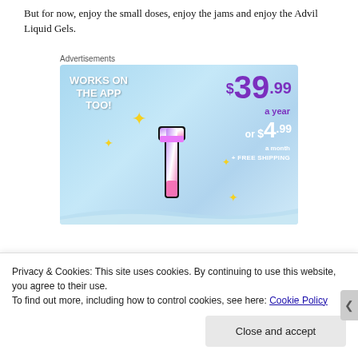The shops will come.

But for now, enjoy the small doses, enjoy the jams and enjoy the Advil Liquid Gels.
Advertisements
[Figure (illustration): Tumblr ad showing a stylized letter T logo with sparkle stars, sky background. Text: WORKS ON THE APP TOO! Pricing: $39.99 a year or $4.99 a month + FREE SHIPPING]
Privacy & Cookies: This site uses cookies. By continuing to use this website, you agree to their use.
To find out more, including how to control cookies, see here: Cookie Policy

Close and accept